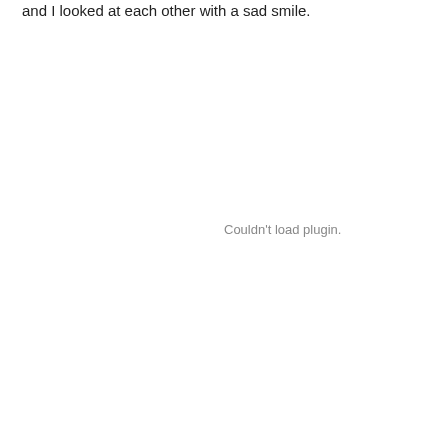and I looked at each other with a sad smile.
Couldn't load plugin.